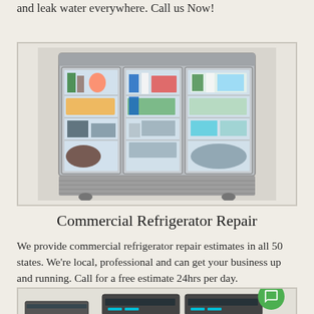and leak water everywhere. Call us Now!
[Figure (photo): Commercial three-door glass refrigerator filled with food and beverages on shelves, stainless steel body]
Commercial Refrigerator Repair
We provide commercial refrigerator repair estimates in all 50 states. We're local, professional and can get your business up and running. Call for a free estimate 24hrs per day.
[Figure (photo): Commercial refrigeration units shown from front, with green chat bubble overlay in bottom right corner]